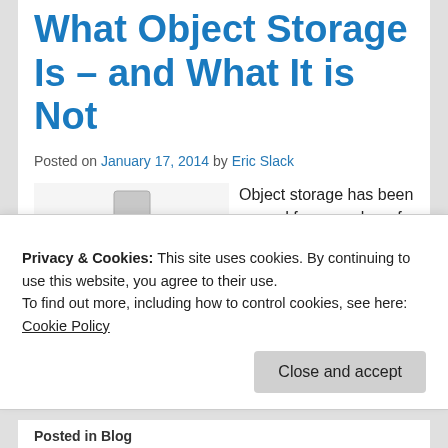What Object Storage Is – and What It is Not
Posted on January 17, 2014 by Eric Slack
[Figure (illustration): 3D illustration of a red figure standing at the center of a flowchart/network diagram with grey boxes and arrows connecting nodes]
Object storage has been around for a number of years but is now getting more attention. This is due to a couple of factors: the amount of data, especially file data, is
Privacy & Cookies: This site uses cookies. By continuing to use this website, you agree to their use.
To find out more, including how to control cookies, see here: Cookie Policy
Close and accept
Posted in Blog